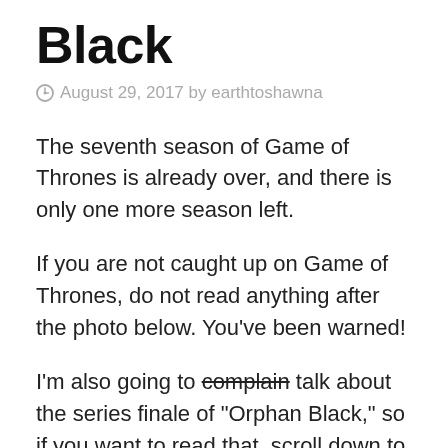Black
August 29, 2017 by earthtoshawna
The seventh season of Game of Thrones is already over, and there is only one more season left.
If you are not caught up on Game of Thrones, do not read anything after the photo below. You've been warned!
I'm also going to complain talk about the series finale of “Orphan Black,” so if you want to read that, scroll down to the photo of the